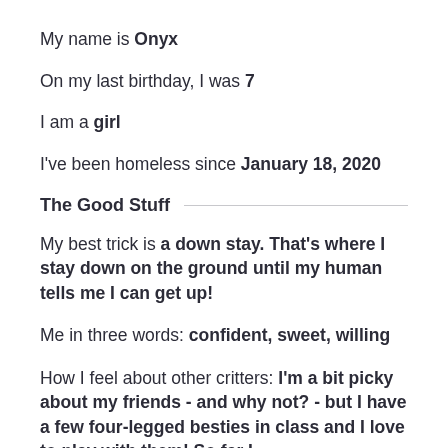My name is Onyx
On my last birthday, I was 7
I am a girl
I've been homeless since January 18, 2020
The Good Stuff
My best trick is a down stay. That's where I stay down on the ground until my human tells me I can get up!
Me in three words: confident, sweet, willing
How I feel about other critters: I'm a bit picky about my friends - and why not? - but I have a few four-legged besties in class and I love to play with them! So far I